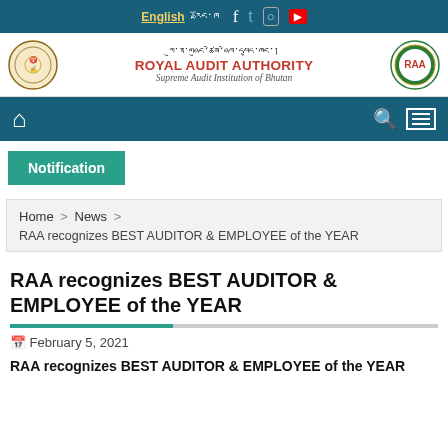English | དབྱིན་ཇི། [social icons: Facebook, Twitter, Instagram, YouTube]
[Figure (logo): Royal Audit Authority of Bhutan logo left and right, with Dzongkha script title and English name 'ROYAL AUDIT AUTHORITY - Supreme Audit Institution of Bhutan']
Navigation bar with home icon, search icon, and menu icon
Notification
Home > News > RAA recognizes BEST AUDITOR & EMPLOYEE of the YEAR
RAA recognizes BEST AUDITOR & EMPLOYEE of the YEAR
February 5, 2021
RAA recognizes BEST AUDITOR & EMPLOYEE of the YEAR